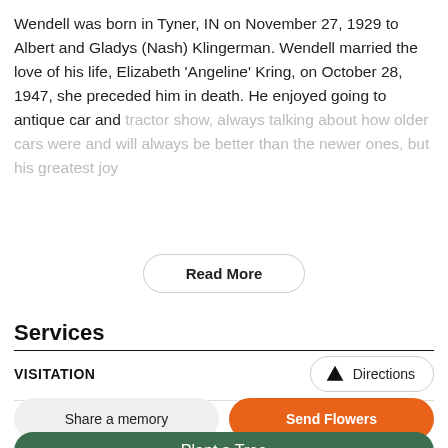Wendell was born in Tyner, IN on November 27, 1929 to Albert and Gladys (Nash) Klingerman. Wendell married the love of his life, Elizabeth 'Angeline' Kring, on October 28, 1947, she preceded him in death. He enjoyed going to antique car and tractor show, always talking about how older cars were and will always be better than the newer ones, but his greatest joy
Read More
Services
VISITATION
Directions
Share a memory
Send Flowers
Plant a Tree